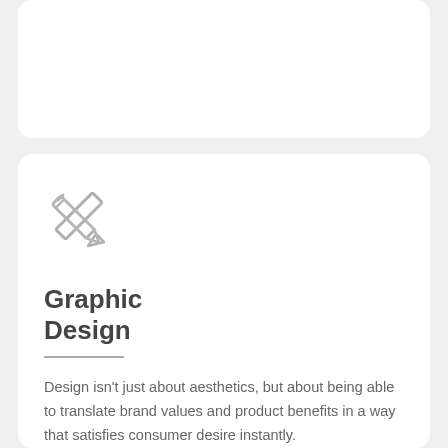[Figure (illustration): Empty white rounded card at top of page]
[Figure (illustration): Gray pencil/pen icon, diagonal orientation]
Graphic Design
Design isn't just about aesthetics, but about being able to translate brand values and product benefits in a way that satisfies consumer desire instantly.